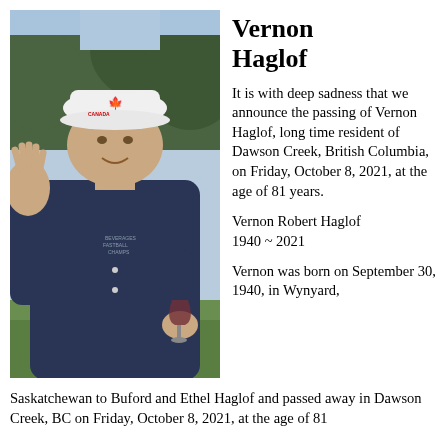[Figure (photo): Outdoor photo of Vernon Haglof, an elderly man wearing a white Canada cap and dark navy jacket, waving with one hand and holding a wine glass in the other, standing in a green outdoor setting.]
Vernon Haglof
It is with deep sadness that we announce the passing of Vernon Haglof, long time resident of Dawson Creek, British Columbia, on Friday, October 8, 2021, at the age of 81 years.
Vernon Robert Haglof
1940 ~ 2021
Vernon was born on September 30, 1940, in Wynyard,
Saskatchewan to Buford and Ethel Haglof and passed away in Dawson Creek, BC on Friday, October 8, 2021, at the age of 81